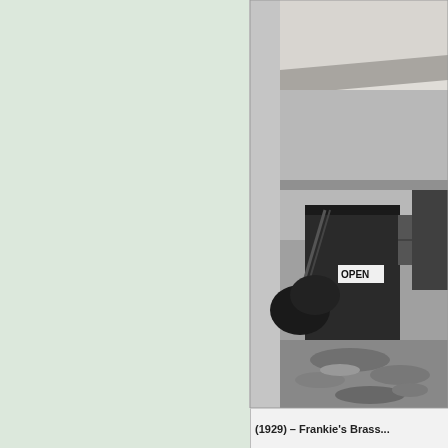[Figure (photo): Black and white historical photograph showing a small dark building/structure with an 'OPEN' sign visible, set in an open unpaved lot. The photo appears to be from around 1929. A roof or awning is visible at the top right. The scene shows a rural or early commercial setting.]
(1929) – Frankie's Brass...